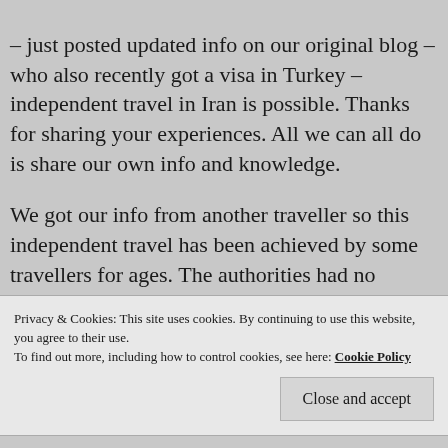– just posted updated info on our original blog – who also recently got a visa in Turkey – independent travel in Iran is possible. Thanks for sharing your experiences. All we can all do is share our own info and knowledge.
We got our info from another traveller so this independent travel has been achieved by some travellers for ages. The authorities had no problem with me travelling independently in the country when I was there. I was stoped and passport checked very regularly.
Privacy & Cookies: This site uses cookies. By continuing to use this website, you agree to their use.
To find out more, including how to control cookies, see here: Cookie Policy